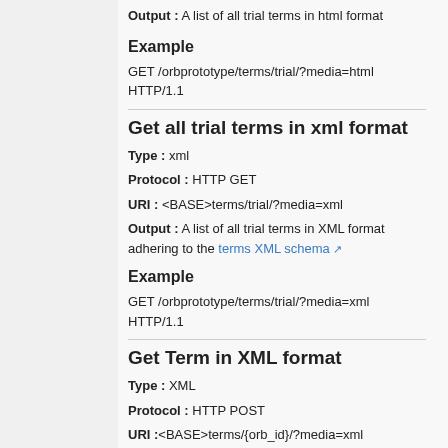Output : A list of all trial terms in html format
Example
GET /orbprototype/terms/trial/?media=html HTTP/1.1
Get all trial terms in xml format
Type : xml
Protocol : HTTP GET
URI : <BASE>terms/trial/?media=xml
Output : A list of all trial terms in XML format adhering to the terms XML schema
Example
GET /orbprototype/terms/trial/?media=xml HTTP/1.1
Get Term in XML format
Type : XML
Protocol : HTTP POST
URI :<BASE>terms/{orb_id}/?media=xml